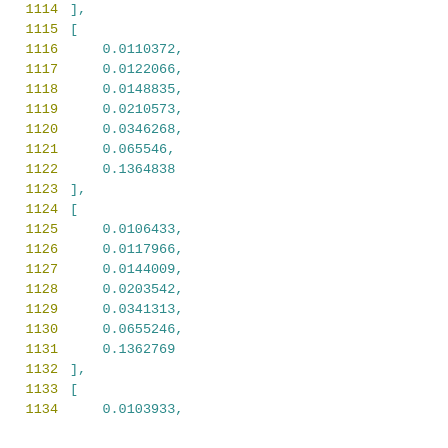1114    ],
1115    [
1116        0.0110372,
1117        0.0122066,
1118        0.0148835,
1119        0.0210573,
1120        0.0346268,
1121        0.065546,
1122        0.1364838
1123    ],
1124    [
1125        0.0106433,
1126        0.0117966,
1127        0.0144009,
1128        0.0203542,
1129        0.0341313,
1130        0.0655246,
1131        0.1362769
1132    ],
1133    [
1134        0.0103933,